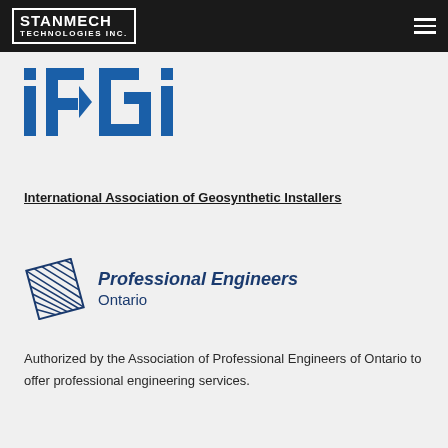STANMECH TECHNOLOGIES INC.
[Figure (logo): IAGI logo — International Association of Geosynthetic Installers blue logo with stylized letters]
International Association of Geosynthetic Installers
[Figure (logo): Professional Engineers Ontario logo with hatched diamond shape and text]
Authorized by the Association of Professional Engineers of Ontario to offer professional engineering services.